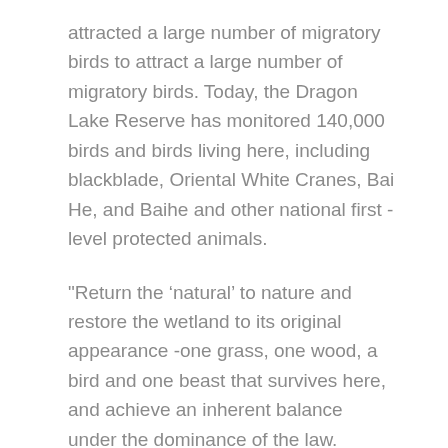attracted a large number of migratory birds to attract a large number of migratory birds. Today, the Dragon Lake Reserve has monitored 140,000 birds and birds living here, including blackblade, Oriental White Cranes, Bai He, and Baihe and other national first -level protected animals.
"Return the ‘natural’ to nature and restore the wetland to its original appearance -one grass, one wood, a bird and one beast that survives here, and achieve an inherent balance under the dominance of the law. Migratory Bird Paradise ‘Pursuit.
"Hao Tao said.
The fifth largest lake in Hubei is known as "wetland, migratory bird paradise". Xinhuanet sent